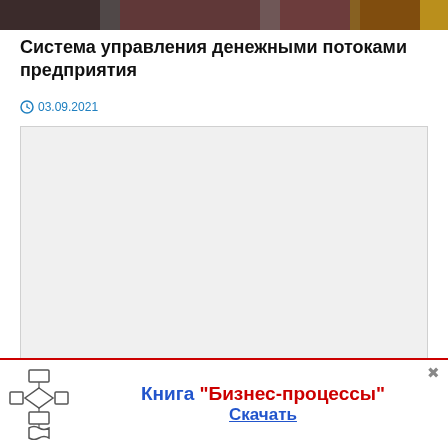[Figure (photo): Dark banner image at top of webpage, reddish-brown tones]
Система управления денежными потоками предприятия
03.09.2021
[Figure (other): Large empty light gray content area placeholder]
[Figure (infographic): Advertisement banner: flowchart icon on left, text 'Книга "Бизнес-процессы"' in blue and red bold, 'Скачать' underlined below, close button top right]